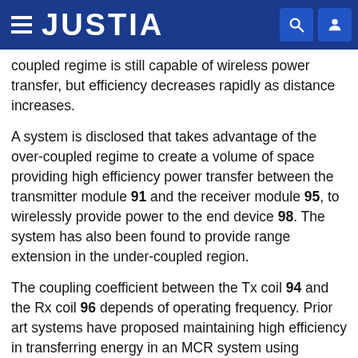JUSTIA
coupled regime is still capable of wireless power transfer, but efficiency decreases rapidly as distance increases.
A system is disclosed that takes advantage of the over-coupled regime to create a volume of space providing high efficiency power transfer between the transmitter module 91 and the receiver module 95, to wirelessly provide power to the end device 98. The system has also been found to provide range extension in the under-coupled region.
The coupling coefficient between the Tx coil 94 and the Rx coil 96 depends of operating frequency. Prior art systems have proposed maintaining high efficiency in transferring energy in an MCR system using dynamic frequency tuning. The goal of dynamic frequency tuning is to automatically adjust the transmitter frequency (e.g.